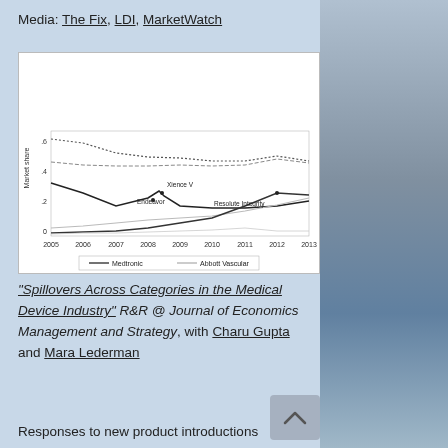Media: The Fix, LDI, MarketWatch
[Figure (line-chart): Line chart showing market share from 2005 to 2013 for multiple medical device products including Xience V, Endeavor, Resolute Integrity (Medtronic) and Abbott Vascular lines. Y-axis ranges from 0 to about 0.6. Multiple lines show different product trajectories over time.]
"Spillovers Across Categories in the Medical Device Industry" R&R @ Journal of Economics Management and Strategy, with Charu Gupta and Mara Lederman
Responses to new product introductions